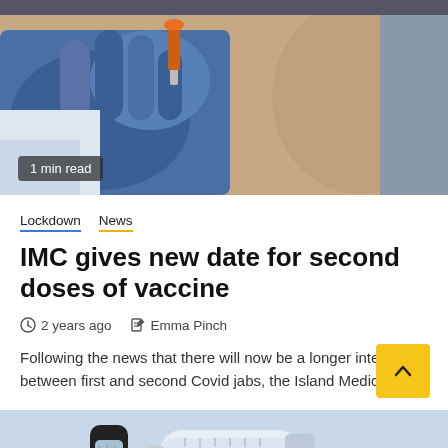[Figure (photo): Close-up photo of a healthcare worker wearing blue gloves administering a vaccine injection into a patient's arm. Orange vial visible at top.]
1 min read
Lockdown  News
IMC gives new date for second doses of vaccine
2 years ago  Emma Pinch
Following the news that there will now be a longer interval between first and second Covid jabs, the Island Medical...
[Figure (photo): Close-up photo of a medical syringe and vial on a light blue surface.]